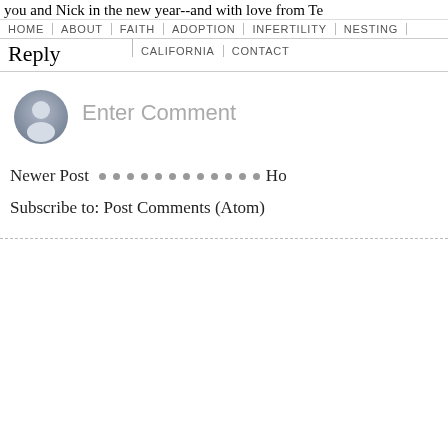you and Nick in the new year--and with love from Te...
HOME | ABOUT | FAITH | ADOPTION | INFERTILITY | NESTING
Reply
CALIFORNIA | CONTACT
[Figure (illustration): User avatar icon - circular silhouette of a generic person in grey tones]
Enter Comment
Newer Post · · · · · · · · · · · · · · · · · Ho
Subscribe to: Post Comments (Atom)